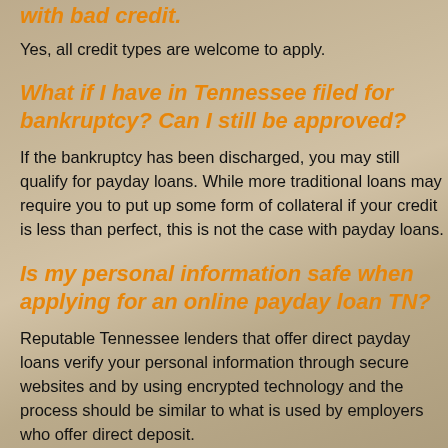with bad credit.
Yes, all credit types are welcome to apply.
What if I have in Tennessee filed for bankruptcy? Can I still be approved?
If the bankruptcy has been discharged, you may still qualify for payday loans. While more traditional loans may require you to put up some form of collateral if your credit is less than perfect, this is not the case with payday loans.
Is my personal information safe when applying for an online payday loan TN?
Reputable Tennessee lenders that offer direct payday loans verify your personal information through secure websites and by using encrypted technology and the process should be similar to what is used by employers who offer direct deposit.